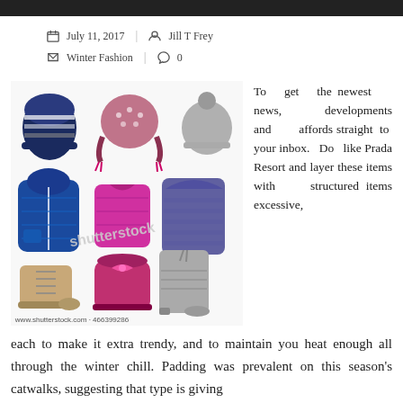July 11, 2017 | Jill T Frey
Winter Fashion | 0
[Figure (photo): Grid of children's winter clothing and accessories: three hats (striped knit, patterned earflap, grey pom-pom), three jackets/coats (blue puffer, pink vest, purple hooded coat), three boots/shoes (tan lace-up boot, pink bow boot, grey tall boot). Shutterstock watermark visible. www.shutterstock.com 466399286]
To get the newest news, developments and affords straight to your inbox. Do like Prada Resort and layer these items with structured items excessive, each to make it extra trendy, and to maintain you heat enough all through the winter chill. Padding was prevalent on this season's catwalks, suggesting that type is giving